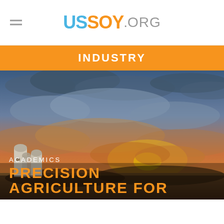USSOY.ORG
INDUSTRY
[Figure (photo): Farm scene at sunset with grain silos silhouetted against an orange and blue sky with dramatic clouds]
ACADEMICS
PRECISION AGRICULTURE FOR